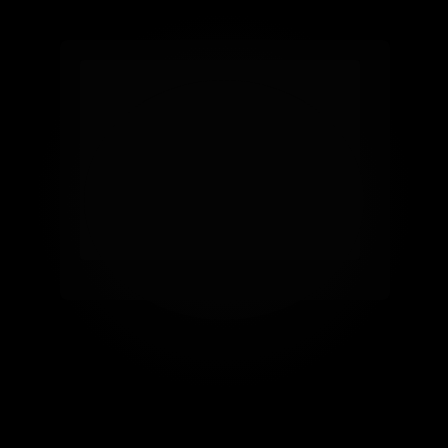[Figure (photo): A nearly completely black image with very faint, barely visible texture or content obscured by extreme darkness/underexposure.]